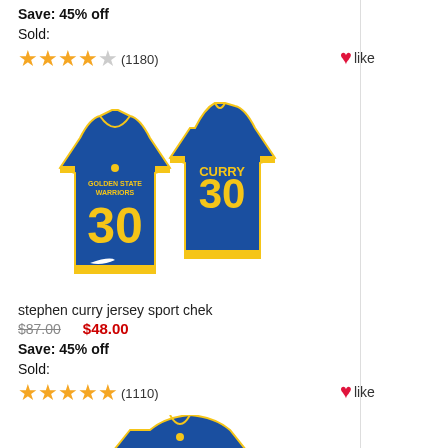Save: 45% off
Sold:
★★★★☆ (1180)  ♥ like
[Figure (photo): Product photo of Stephen Curry Golden State Warriors blue jersey #30, showing front and back views]
stephen curry jersey sport chek
$87.00  $48.00
Save: 45% off
Sold:
★★★★★ (1110)  ♥ like
[Figure (photo): Product photo of Stephen Curry Golden State Warriors blue jersey #30, back view only]